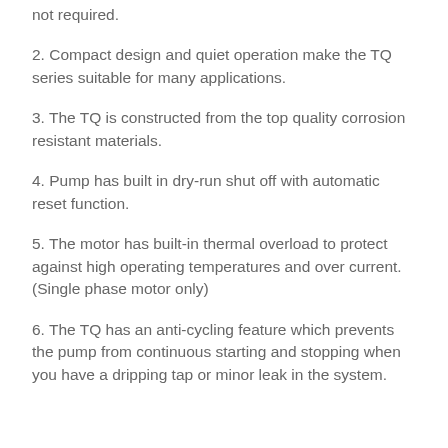not required.
2. Compact design and quiet operation make the TQ series suitable for many applications.
3. The TQ is constructed from the top quality corrosion resistant materials.
4. Pump has built in dry-run shut off with automatic reset function.
5. The motor has built-in thermal overload to protect against high operating temperatures and over current. (Single phase motor only)
6. The TQ has an anti-cycling feature which prevents the pump from continuous starting and stopping when you have a dripping tap or minor leak in the system.